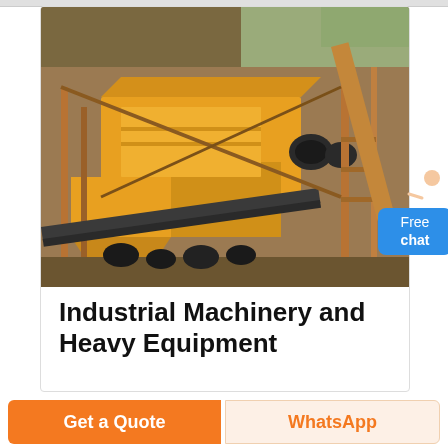[Figure (photo): Industrial vibrating screen / heavy equipment machinery shown in an outdoor quarry or mining site. Large yellow vibrating screen unit mounted on steel scaffolding with conveyor belts, set against a hillside backdrop.]
Industrial Machinery and Heavy Equipment
Free chat
Get a Quote
WhatsApp